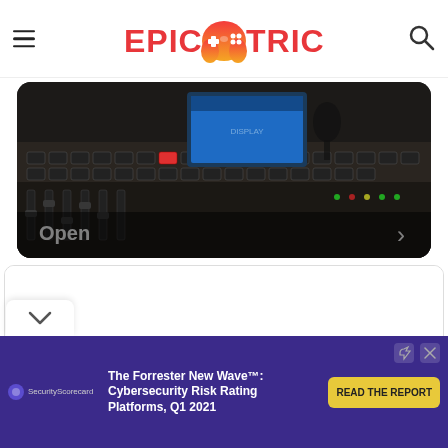Epic Trick — gaming logo header with hamburger menu and search icon
[Figure (photo): Photo of a broadcast or audio/video control console with keyboards and monitors in a dark studio setting. Text overlay reads 'Open' with a right arrow chevron.]
[Figure (other): White card containing a large black question mark icon (circle with question mark symbol), partially visible, with a scroll-down chevron indicator on the left side.]
[Figure (other): Advertisement banner: dark purple background. SecurityScorecard logo on left. Text: 'The Forrester New Wave™: Cybersecurity Risk Rating Platforms, Q1 2021'. Yellow button: 'READ THE REPORT'. Close/share icons top right.]